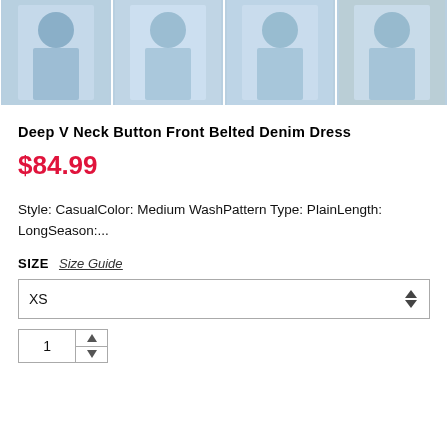[Figure (photo): Four product photos of a Deep V Neck Button Front Belted Denim Dress shown from different angles on a model against a white brick wall background.]
Deep V Neck Button Front Belted Denim Dress
$84.99
Style: CasualColor: Medium WashPattern Type: PlainLength: LongSeason:...
SIZE  Size Guide
XS